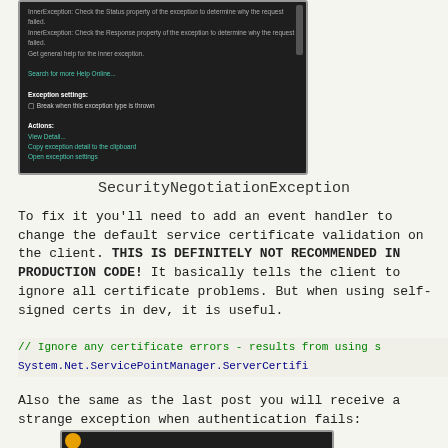[Figure (screenshot): Visual Studio debugger popup showing SecurityNegotiationException details with exception settings and actions on dark background]
SecurityNegotiationException
To fix it you'll need to add an event handler to change the default service certificate validation on the client.  THIS IS DEFINITELY NOT RECOMMENDED IN PRODUCTION CODE!  It basically tells the client to ignore all certificate problems.  But when using self-signed certs in dev, it is useful.
// Ignore any certificate errors - results from using s
            System.Net.ServicePointManager.ServerCertifi
Also the same as the last post you will receive a strange exception when authentication fails:
[Figure (screenshot): Bottom portion of another Visual Studio debugger exception popup on dark background]